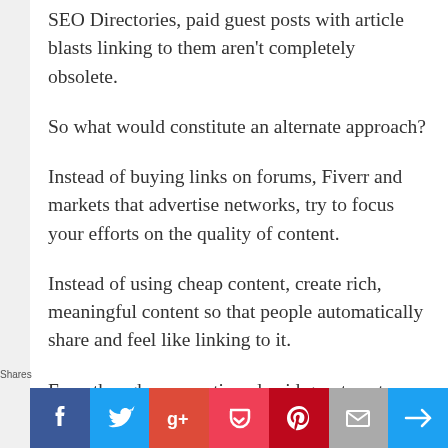SEO Directories, paid guest posts with article blasts linking to them aren't completely obsolete.
So what would constitute an alternate approach?
Instead of buying links on forums, Fiverr and markets that advertise networks, try to focus your efforts on the quality of content.
Instead of using cheap content, create rich, meaningful content so that people automatically share and feel like linking to it.
Even though we mentioned paid guest posts as a bad thing, guest blogging on the whole is by no means dead. When done in the right spirit
Shares